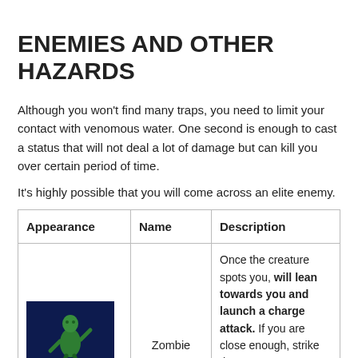ENEMIES AND OTHER HAZARDS
Although you won't find many traps, you need to limit your contact with venomous water. One second is enough to cast a status that will not deal a lot of damage but can kill you over certain period of time.
It's highly possible that you will come across an elite enemy.
| Appearance | Name | Description |
| --- | --- | --- |
| [zombie image] | Zombie | Once the creature spots you, will lean towards you and launch a charge attack. If you are close enough, strike the creature. You may also jump behind it to avoid the charge or roll when the monster is |